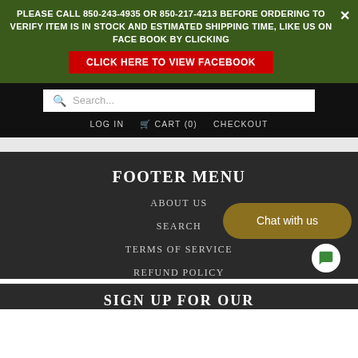PLEASE CALL 850-243-4935 OR 850-217-4213 BEFORE ORDERING TO VERIFY ITEM IS IN STOCK AND ESTIMATED SHIPPING TIME, LIKE US ON FACE BOOK BY CLICKING
CLICK HERE TO VIEW FACEBOOK
Search...
LOG IN   CART (0)   CHECKOUT
FOOTER MENU
ABOUT US
SEARCH
TERMS OF SERVICE
REFUND POLICY
Chat with us
SIGN UP FOR OUR